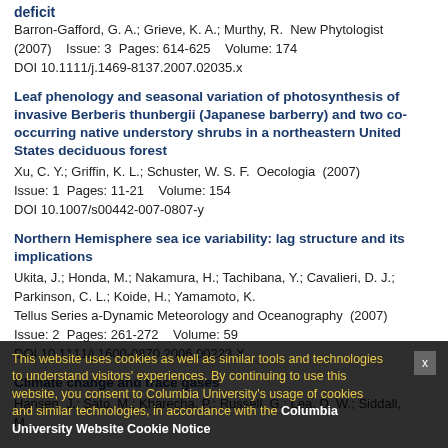deficit
Barron-Gafford, G. A.; Grieve, K. A.; Murthy, R.  New Phytologist (2007)    Issue: 3  Pages: 614-625    Volume: 174
DOI 10.1111/j.1469-8137.2007.02035.x
Leaf phenology and seasonal variation of photosynthesis of invasive Berberis thunbergii (Japanese barberry) and two co-occurring native understory shrubs in a northeastern United States deciduous forest
Xu, C. Y.; Griffin, K. L.; Schuster, W. S. F.  Oecologia  (2007)
Issue: 1  Pages: 11-21    Volume: 154
DOI 10.1007/s00442-007-0807-y
Northern Hemisphere sea ice variability: lag structure and its implications
Ukita, J.; Honda, M.; Nakamura, H.; Tachibana, Y.; Cavalieri, D. J.; Parkinson, C. L.; Koide, H.; Yamamoto, K.
Tellus Series a-Dynamic Meteorology and Oceanography  (2007)
Issue: 2  Pages: 261-272    Volume: 59
DOI 10.1111/j.1600-0870.2006.00223.X
Climate change and trace gases
Hansen, J.; Sato, M.; Kharecha, P.; Russell, G.; Lea, D. W.; Siddall, M.